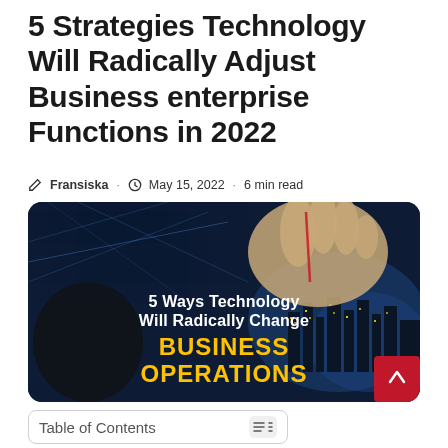5 Strategies Technology Will Radically Adjust Business enterprise Functions in 2022
Fransiska · May 15, 2022 · 6 min read
[Figure (illustration): Hero image showing hands touching a digital interface with city lights in background, overlaid text reads '5 Ways Technology Will Radically Change BUSINESS OPERATIONS' in white and yellow bold text]
Table of Contents